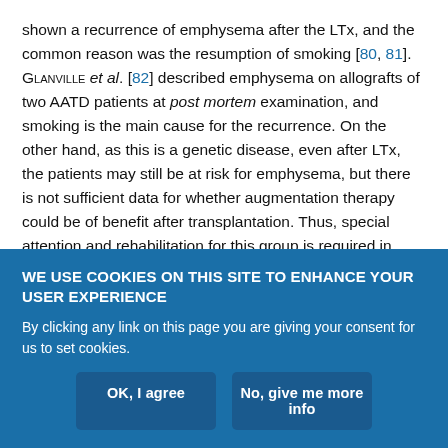shown a recurrence of emphysema after the LTx, and the common reason was the resumption of smoking [80, 81]. GLANVILLE et al. [82] described emphysema on allografts of two AATD patients at post mortem examination, and smoking is the main cause for the recurrence. On the other hand, as this is a genetic disease, even after LTx, the patients may still be at risk for emphysema, but there is not sufficient data for whether augmentation therapy could be of benefit after transplantation. Thus, special attention and rehabilitation for this group is required in order to prevent smoking after transplantation. These observations form the basis for continued replacement therapy post-transplantation.
WE USE COOKIES ON THIS SITE TO ENHANCE YOUR USER EXPERIENCE
By clicking any link on this page you are giving your consent for us to set cookies.
OK, I agree | No, give me more info